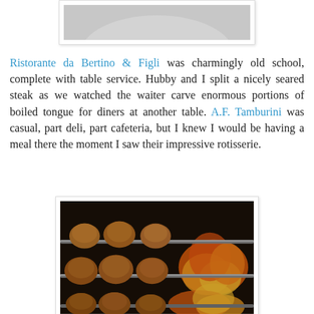[Figure (photo): Top portion of a photo showing a white plate, partially visible at the top of the page.]
Ristorante da Bertino & Figli was charmingly old school, complete with table service. Hubby and I split a nicely seared steak as we watched the waiter carve enormous portions of boiled tongue for diners at another table. A.F. Tamburini was casual, part deli, part cafeteria, but I knew I would be having a meal there the moment I saw their impressive rotisserie.
[Figure (photo): Photo of chickens or poultry on a rotisserie with open flames visible behind the metal spits. The birds are golden-brown and cooking over fire.]